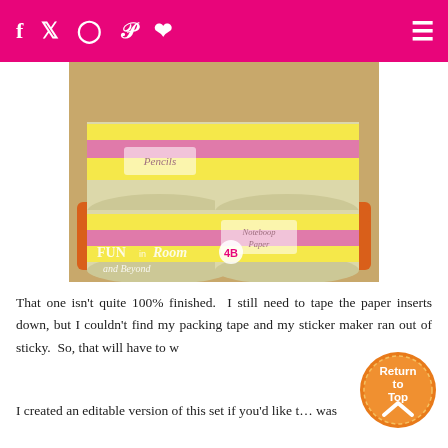f  t  o  p  ♥  ≡
[Figure (photo): Photo of plastic storage containers decorated with yellow and pink patterned washi tape. Containers are stacked on an orange tray. Labels read 'Pencils' on the top set and 'Noteboop Paper' on the bottom set. Watermark in bottom-left reads 'FUN in Room 4B and Beyond'.]
That one isn't quite 100% finished.  I still need to tape the paper inserts down, but I couldn't find my packing tape and my sticker maker ran out of sticky.  So, that will have to w…
I created an editable version of this set if you'd like t… was